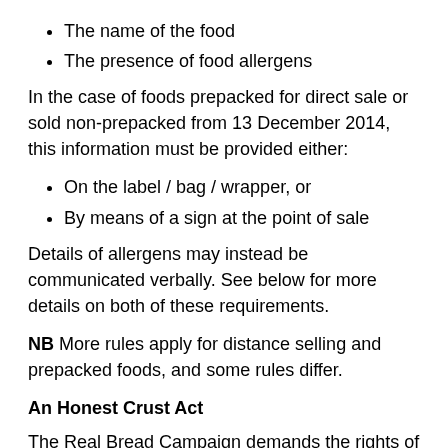The name of the food
The presence of food allergens
In the case of foods prepacked for direct sale or sold non-prepacked from 13 December 2014, this information must be provided either:
On the label / bag / wrapper, or
By means of a sign at the point of sale
Details of allergens may instead be communicated verbally. See below for more details on both of these requirements.
NB More rules apply for distance selling and prepacked foods, and some rules differ.
An Honest Crust Act
The Real Bread Campaign demands the rights of shoppers be better protected by the provision of far more information than this to be made mandatory